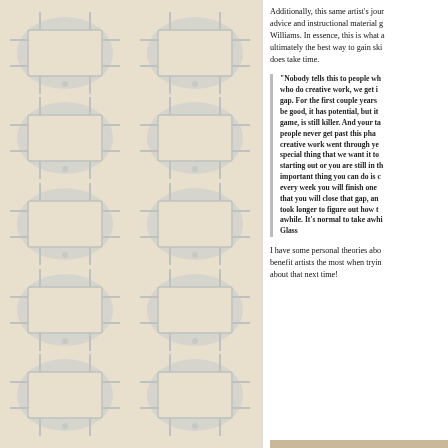[Figure (illustration): Decorative repeating pattern of circular/rectangular frame shapes arranged in a grid on a beige background, left half of page.]
Additionally, this same artist's journey provides advice and instructional material given to him by Williams. In essence, this is what all instructors do, ultimately the best way to gain skills and grow, but does take time.
"Nobody tells this to people who are beginners, I wish someone had told me. All of us who do creative work, we get into it because we have good taste. But there is this gap. For the first couple years you make stuff, and it's just not that good. It's trying to be good, it has potential, but it's not. But your taste, the thing that got you into the game, is still killer. And your taste is why your work disappoints you. A lot of people never get past this phase, they quit. Most people I know who do interesting, creative work went through years of this. We know our work doesn't have this special thing that we want it to have. We all go through this. And if you are just starting out or you are still in this phase, you gotta know its normal and the most important thing you can do is do a lot of work. Put yourself on a deadline so that every week you will finish one story. It is only by going through a volume of work that you will close that gap, and your work will be as good as your ambitions. And it took longer to figure out how to do this than anyone I've ever met. It's gonna take awhile. It's normal to take awhile. You've just gotta fight your way through." ― Ira Glass
I have some personal theories about what activities benefit artists the most when trying to improve. I'll talk about that next time!